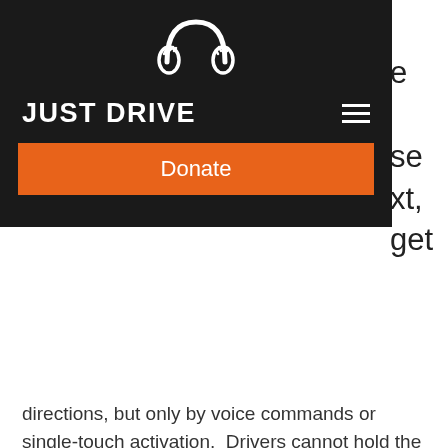[Figure (logo): Just Drive organization logo — steering wheel with hands icon in white on black background]
JUST DRIVE
Donate
directions, but only by voice commands or single-touch activation.  Drivers cannot hold the phone.  Remember, hands-free is not distraction-free.
What can't I do with my phone under the new law?
You may NOT hold your phone in your hand.  Also, a driver may NOT